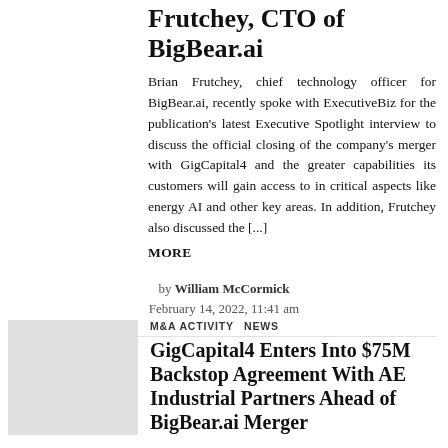Frutchey, CTO of BigBear.ai
Brian Frutchey, chief technology officer for BigBear.ai, recently spoke with ExecutiveBiz for the publication's latest Executive Spotlight interview to discuss the official closing of the company's merger with GigCapital4 and the greater capabilities its customers will gain access to in critical aspects like energy AI and other key areas. In addition, Frutchey also discussed the [...] MORE
by William McCormick
February 14, 2022, 11:41 am
[Figure (photo): Thumbnail image placeholder (gray rectangle) for GigCapital4 article]
M&A ACTIVITY   NEWS
GigCapital4 Enters Into $75M Backstop Agreement With AE Industrial Partners Ahead of BigBear.ai Merger